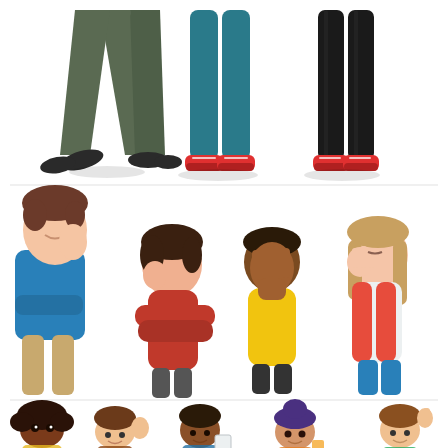[Figure (illustration): A cartoon illustration set divided into three rows. Top row: three pairs of legs/lower bodies walking or standing — left pair in dark olive/grey trousers with black shoes mid-stride, center pair in teal/dark teal leggings with red sneakers standing, right pair in black pants with red sneakers standing. Middle row: four cartoon characters covering their faces in embarrassment or facepalm gestures — a young man in blue shirt with brown hair holding his cheek, a girl in red sweater with dark hair covering her face, a dark-skinned girl in yellow shirt covering her face with her hand, and a girl in red cardigan touching her face with eyes closed. Bottom row: five cartoon teen characters — a Black girl with curly hair in yellow top, a boy in plaid shirt waving, a darker-skinned boy in blue holding a clipboard, a girl with purple bun hairstyle holding something, and a boy in green shirt pointing upward.]